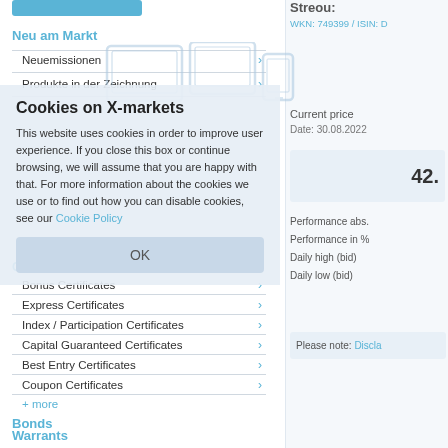Streou:
WKN: 749399 / ISIN: D
Neu am Markt
Neuemissionen
Produkte in der Zeichnung
Cookies on X-markets
This website uses cookies in order to improve user experience. If you close this box or continue browsing, we will assume that you are happy with that. For more information about the cookies we use or to find out how you can disable cookies, see our Cookie Policy
Certificates
Bonus Certificates
Express Certificates
Index / Participation Certificates
Capital Guaranteed Certificates
Best Entry Certificates
Coupon Certificates
+ more
Bonds
Express Reverse Convertibles
Warrants
Current price
Date: 30.08.2022
42.
Performance abs.
Performance in %
Daily high (bid)
Daily low (bid)
Please note: Discla